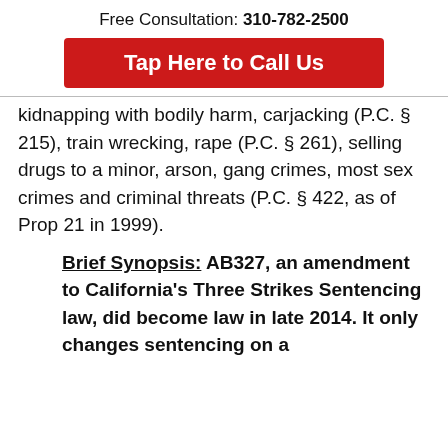Free Consultation: 310-782-2500
Tap Here to Call Us
kidnapping with bodily harm, carjacking (P.C. § 215), train wrecking, rape (P.C. § 261), selling drugs to a minor, arson, gang crimes, most sex crimes and criminal threats (P.C. § 422, as of Prop 21 in 1999).
Brief Synopsis:  AB327, an amendment to California's Three Strikes Sentencing law, did become law in late 2014. It only changes sentencing on a